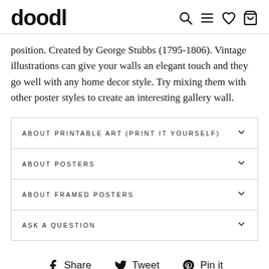doodl
position. Created by George Stubbs (1795-1806). Vintage illustrations can give your walls an elegant touch and they go well with any home decor style. Try mixing them with other poster styles to create an interesting gallery wall.
ABOUT PRINTABLE ART (PRINT IT YOURSELF)
ABOUT POSTERS
ABOUT FRAMED POSTERS
ASK A QUESTION
Share   Tweet   Pin it